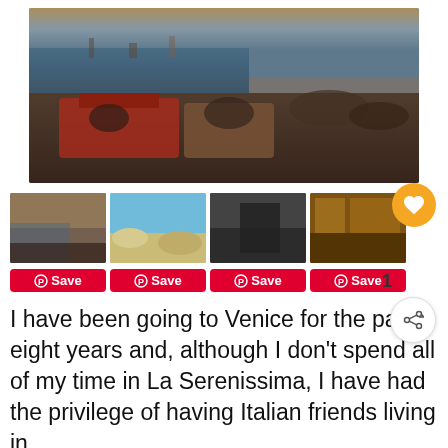[Figure (photo): Large photo of Venice waterfront crowded with people on boats and on the promenade, with water and buildings visible in the background at dusk]
[Figure (photo): Thumbnail 1: Venice waterfront crowd scene at dusk]
[Figure (photo): Thumbnail 2: Sandy beach/dunes with blue sky]
[Figure (photo): Thumbnail 3: Aerial or overhead view of dark street scene]
[Figure (photo): Thumbnail 4: Interior of restaurant or market with warm lighting]
I have been going to Venice for the past eight years and, although I don't spend all of my time in La Serenissima, I have had the privilege of having Italian friends living in